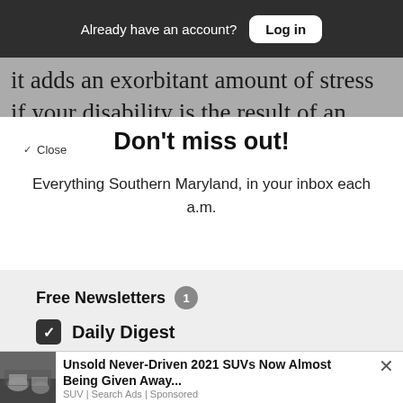Already have an account? Log in
it adds an exorbitant amount of stress if your disability is the result of an injury and you are ing to adapt to your new normal.
Don’t miss out!
Everything Southern Maryland, in your inbox each a.m.
Free Newsletters 1
Daily Digest
A roundup of the latest news
Unsold Never-Driven 2021 SUVs Now Almost Being Given Away...
SUV | Search Ads | Sponsored